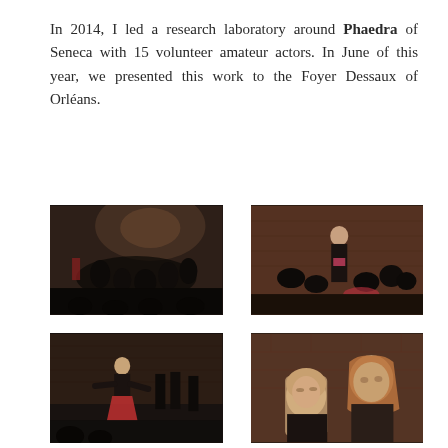In 2014, I led a research laboratory around Phaedra of Seneca with 15 volunteer amateur actors. In June of this year, we presented this work to the Foyer Dessaux of Orléans.
[Figure (photo): Dark theatre scene showing a group of actors seated in a circle on a dark floor, with a brick wall in the background illuminated by stage lighting.]
[Figure (photo): A woman in black top with a pink/red sash standing upright while other actors in black crouch or kneel around her, brick wall background.]
[Figure (photo): A woman in a black top and red skirt performing on stage with arms extended, other actors in black standing behind her, brick wall background.]
[Figure (photo): Close-up of two women in black clothing in front of a brick wall, one with straight blonde hair and one with wavy auburn hair.]